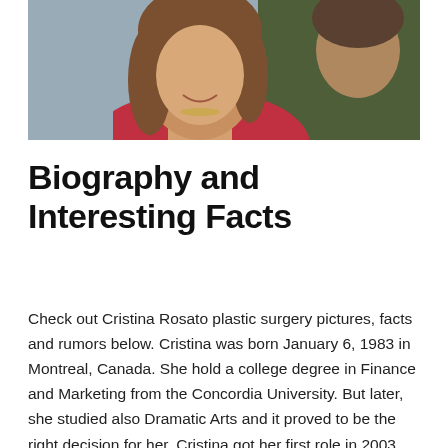[Figure (photo): Two people posed together — a smiling woman with brown hair wearing a red top and necklace, and a man in a dark olive/green top, against a gray background.]
Biography and Interesting Facts
Check out Cristina Rosato plastic surgery pictures, facts and rumors below. Cristina was born January 6, 1983 in Montreal, Canada. She hold a college degree in Finance and Marketing from the Concordia University. But later, she studied also Dramatic Arts and it proved to be the right decision for her. Cristina got her first role in 2003 but